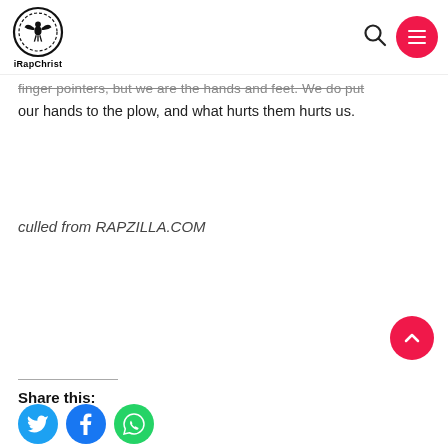iRapChrist — navigation header with logo, search icon, and menu button
finger pointers, but we are the hands and feet. We do put our hands to the plow, and what hurts them hurts us.
culled from RAPZILLA.COM
Share this: